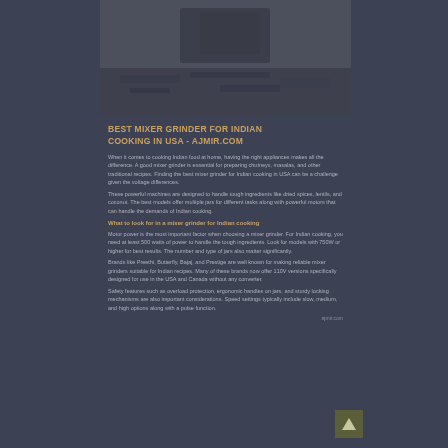[Figure (photo): A dark, low-contrast photograph of a person or scene, split into upper and lower sections with dark overlay tones]
BEST MIXER GRINDER FOR INDIAN COOKING IN USA - AJMIR.COM
Brief introductory text about mixer grinders for Indian cooking in the USA with reference to ajmir.com
Brief sub-heading about mixer grinder recommendations
Detailed body text about best mixer grinder for Indian cooking covering features, brands, and recommendations with multiple paragraphs
Additional descriptive text about mixer grinder selection criteria and usage tips
Continued article content about Indian cooking appliances
ajmir.com